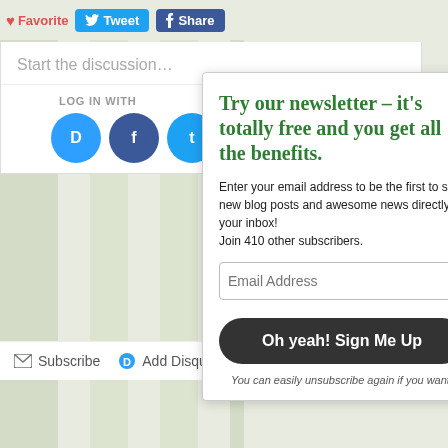[Figure (screenshot): Top bar with Favorite, Tweet, and Share buttons on a striped green background]
Start the discussion…
LOG IN WITH
[Figure (screenshot): Social login icons: Disqus, Facebook, Twitter, Google]
Subscribe   Add Disqus t…
Try our newsletter – it's totally free and you get all the benefits.
Enter your email address to be the first to see new blog posts and awesome news directly in your inbox!
Join 410 other subscribers.
Email Address
Oh yeah! Sign Me Up
You can easily unsubscribe again if you want.